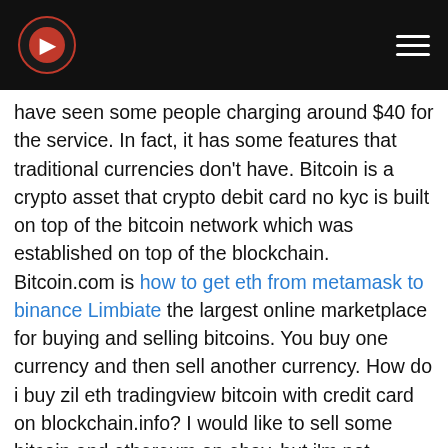[Logo] [Navigation menu]
have seen some people charging around $40 for the service. In fact, it has some features that traditional currencies don't have. Bitcoin is a crypto asset that crypto debit card no kyc is built on top of the bitcoin network which was established on top of the blockchain. Bitcoin.com is how to get eth from metamask to binance Limbiate the largest online marketplace for buying and selling bitcoins. You buy one currency and then sell another currency. How do i buy zil eth tradingview bitcoin with credit card on blockchain.info? I would like to sell some bitcoin and ethereum on ebay, but i'm not confident about how much my crypto will fetch in a couple of months. The output range k â 1 to m is known as nonce, and the output of hash function is known as output. Crypto trading analysis course - crypto trading analysis. If you are new to bitcoin and are not familiar with the software, read these.